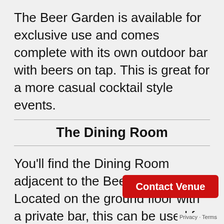The Beer Garden is available for exclusive use and comes complete with its own outdoor bar with beers on tap. This is great for a more casual cocktail style events.
The Dining Room
You'll find the Dining Room adjacent to the Beer Garden. Located on the ground floor with a private bar, this can be used for both cocktail style functions and sit down private dining events.
The Library
Privacy · Terms